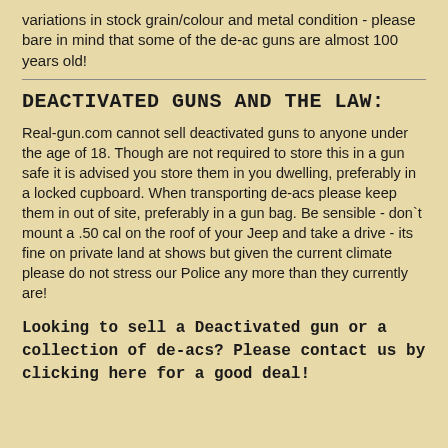variations in stock grain/colour and metal condition - please bare in mind that some of the de-ac guns are almost 100 years old!
DEACTIVATED GUNS AND THE LAW:
Real-gun.com cannot sell deactivated guns to anyone under the age of 18. Though are not required to store this in a gun safe it is advised you store them in you dwelling, preferably in a locked cupboard. When transporting de-acs please keep them in out of site, preferably in a gun bag. Be sensible - don`t mount a .50 cal on the roof of your Jeep and take a drive - its fine on private land at shows but given the current climate please do not stress our Police any more than they currently are!
Looking to sell a Deactivated gun or a collection of de-acs? Please contact us by clicking here for a good deal!